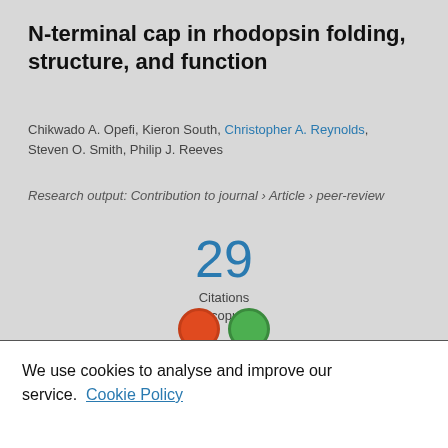N-terminal cap in rhodopsin folding, structure, and function
Chikwado A. Opefi, Kieron South, Christopher A. Reynolds, Steven O. Smith, Philip J. Reeves
Research output: Contribution to journal › Article › peer-review
[Figure (infographic): Citation count: 29 Citations (Scopus)]
[Figure (infographic): Two colored circles: orange and green, representing metric indicators]
We use cookies to analyse and improve our service. Cookie Policy